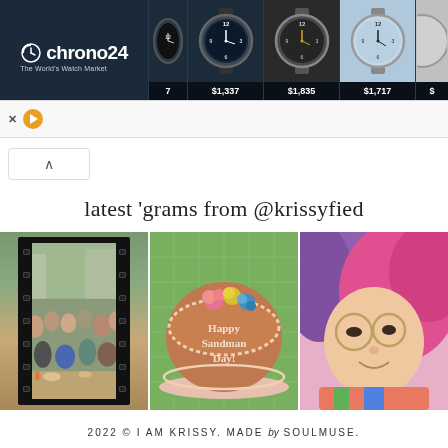[Figure (screenshot): Chrono24 watch marketplace advertisement banner showing logo on dark background and four watch listings with prices: $1,337, $1,835, $1,717, and a partially visible item]
latest 'grams from @krissyfied
[Figure (photo): Three Instagram photos side by side: a group dining photo styled as a film strip, a birthday cake with 'Happy Sandman Day!' inscription, and a close-up of a person with purple/pink hair and glasses]
2022 © I AM KRISSY. MADE by SOULMUSE.